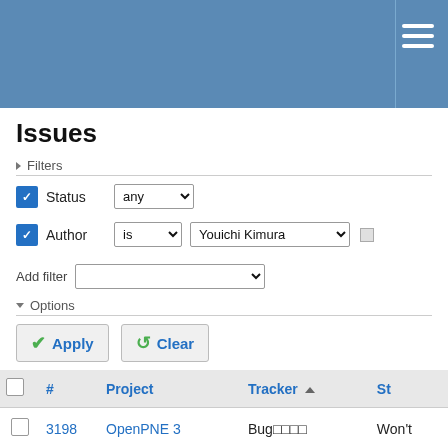Issues tracker page header with hamburger menu
Issues
Filters
Status: any | Author: is | Youichi Kimura | Add filter
Options
Apply | Clear
|  | # | Project | Tracker | St |
| --- | --- | --- | --- | --- |
|  | 3198 | OpenPNE 3 | Bug | Won't |
|  | 3406 | OpenPNE 3 | Bug | Won't |
|  | 3873 | OpenPNE 3 | Bug | Won't |